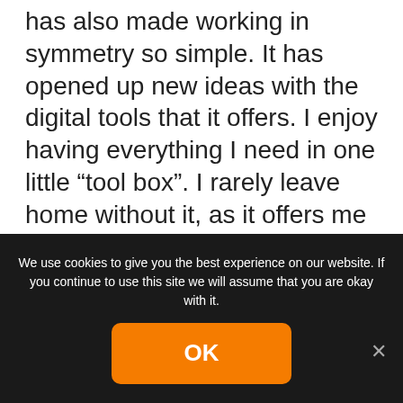has also made working in symmetry so simple. It has opened up new ideas with the digital tools that it offers. I enjoy having everything I need in one little “tool box”. I rarely leave home without it, as it offers me a sharp pencil, a new pen, a bunch of paints and brushes to work with as well as endless sheets of paper. The digital tools also allow the creation of unique 3D designs and textured work. I am finding as I get into the “reading glasses” stage of life, being able to zoom in on detail and have my design “back lit” with the screen light make drawing on the iPad a
We use cookies to give you the best experience on our website. If you continue to use this site we will assume that you are okay with it.
OK